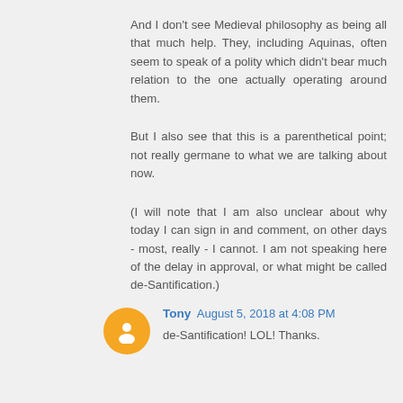And I don't see Medieval philosophy as being all that much help. They, including Aquinas, often seem to speak of a polity which didn't bear much relation to the one actually operating around them.
But I also see that this is a parenthetical point; not really germane to what we are talking about now.
(I will note that I am also unclear about why today I can sign in and comment, on other days - most, really - I cannot. I am not speaking here of the delay in approval, or what might be called de-Santification.)
Tony August 5, 2018 at 4:08 PM
de-Santification! LOL! Thanks.